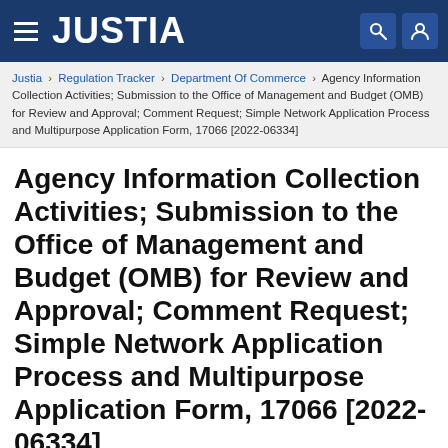JUSTIA
Justia › Regulation Tracker › Department Of Commerce › Agency Information Collection Activities; Submission to the Office of Management and Budget (OMB) for Review and Approval; Comment Request; Simple Network Application Process and Multipurpose Application Form, 17066 [2022-06334]
Agency Information Collection Activities; Submission to the Office of Management and Budget (OMB) for Review and Approval; Comment Request; Simple Network Application Process and Multipurpose Application Form, 17066 [2022-06334]
Download as PDF